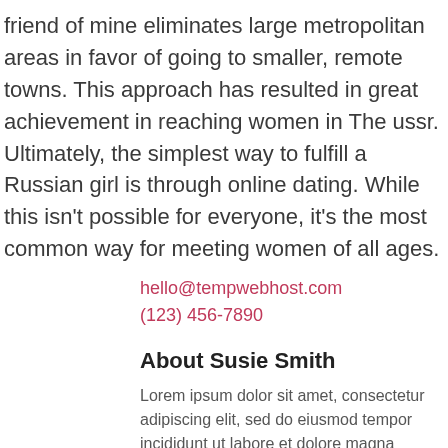friend of mine eliminates large metropolitan areas in favor of going to smaller, remote towns. This approach has resulted in great achievement in reaching women in The ussr. Ultimately, the simplest way to fulfill a Russian girl is through online dating. While this isn't possible for everyone, it's the most common way for meeting women of all ages.
hello@tempwebhost.com
(123) 456-7890
About Susie Smith
Lorem ipsum dolor sit amet, consectetur adipiscing elit, sed do eiusmod tempor incididunt ut labore et dolore magna aliqua.